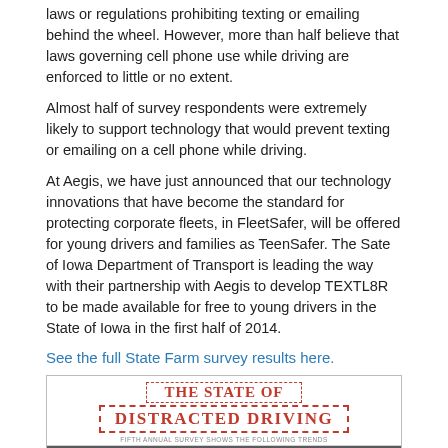laws or regulations prohibiting texting or emailing behind the wheel. However, more than half believe that laws governing cell phone use while driving are enforced to little or no extent.
Almost half of survey respondents were extremely likely to support technology that would prevent texting or emailing on a cell phone while driving.
At Aegis, we have just announced that our technology innovations that have become the standard for protecting corporate fleets, in FleetSafer, will be offered for young drivers and families as TeenSafer. The Sate of Iowa Department of Transport is leading the way with their partnership with Aegis to develop TEXTL8R to be made available for free to young drivers in the State of Iowa in the first half of 2014.
See the full State Farm survey results here.
[Figure (infographic): Infographic titled 'The State of Distracted Driving' - Fifth Annual Survey Shows the Following Trends. Shows figures of drivers with smart phones increasing for all ages, with age groups 18-19, 20-29, 30-39, 40-49, 50-59, 65+ shown with silhouette figures holding phones. Statistics shown below each figure.]